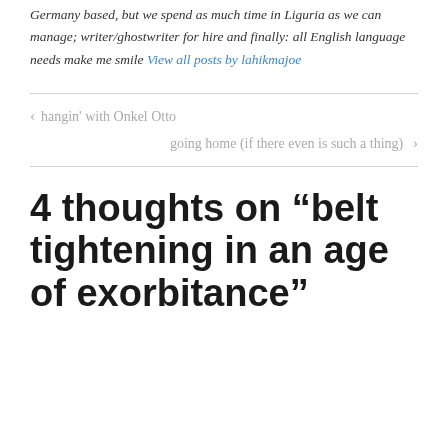Germany based, but we spend as much time in Liguria as we can manage; writer/ghostwriter for hire and finally: all English language needs make me smile View all posts by lahikmajoe
‹ hangin' with Onkel Otto
going home (if there even is such a thing) ›
4 thoughts on “belt tightening in an age of exorbitance”